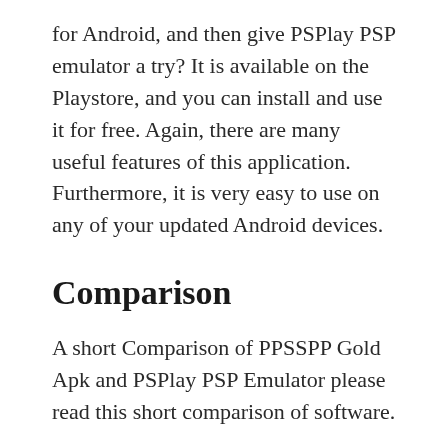for Android, and then give PSPlay PSP emulator a try? It is available on the Playstore, and you can install and use it for free. Again, there are many useful features of this application. Furthermore, it is very easy to use on any of your updated Android devices.
Comparison
A short Comparison of PPSSPP Gold Apk and PSPlay PSP Emulator please read this short comparison of software.
PSPlay PSP Emulator application is best to